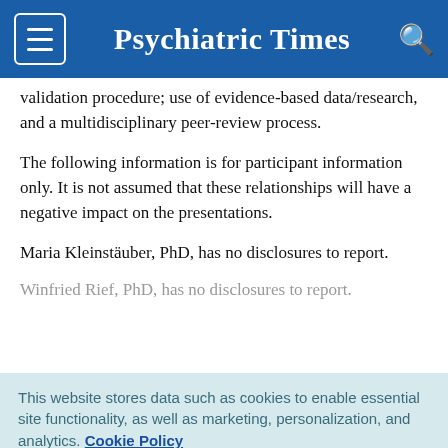Psychiatric Times
validation procedure; use of evidence-based data/research, and a multidisciplinary peer-review process.
The following information is for participant information only. It is not assumed that these relationships will have a negative impact on the presentations.
Maria Kleinstäuber, PhD, has no disclosures to report.
Winfried Rief, PhD, has no disclosures to report.
This website stores data such as cookies to enable essential site functionality, as well as marketing, personalization, and analytics. Cookie Policy
Accept
Deny